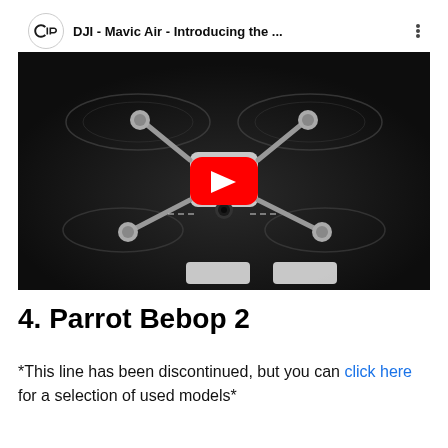[Figure (screenshot): YouTube video thumbnail showing a DJI Mavic Air drone viewed from above against a dark background, with a red YouTube play button in the center. The video bar at the top shows the DJI logo circle and title 'DJI - Mavic Air - Introducing the ...' with a vertical three-dot menu icon.]
4. Parrot Bebop 2
*This line has been discontinued, but you can click here for a selection of used models*